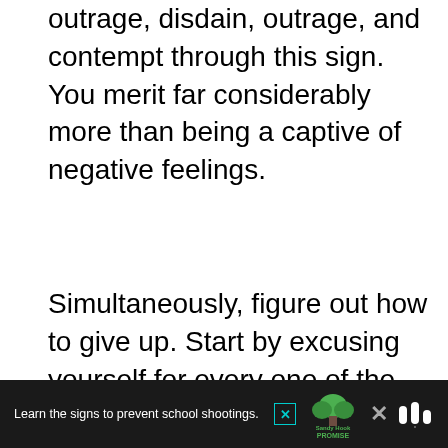outrage, disdain, outrage, and contempt through this sign. You merit far considerably more than being a captive of negative feelings.
Simultaneously, figure out how to give up. Start by excusing yourself for every one of the mix-ups you made previously. Try not to clutch the aggravation and hurt you welcomed on yourself.
[Figure (photo): Dark/black image area, partially visible, appears to be a screenshot of a web page]
Learn the signs to prevent school shootings. Sandy Hook Promise [logo] × [MDA logo]